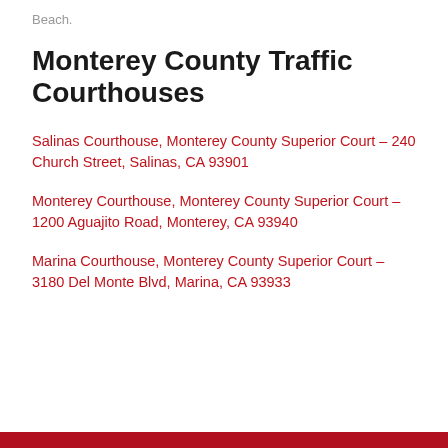Beach.
Monterey County Traffic Courthouses
Salinas Courthouse, Monterey County Superior Court – 240 Church Street, Salinas, CA 93901
Monterey Courthouse, Monterey County Superior Court – 1200 Aguajito Road, Monterey, CA 93940
Marina Courthouse, Monterey County Superior Court – 3180 Del Monte Blvd, Marina, CA 93933